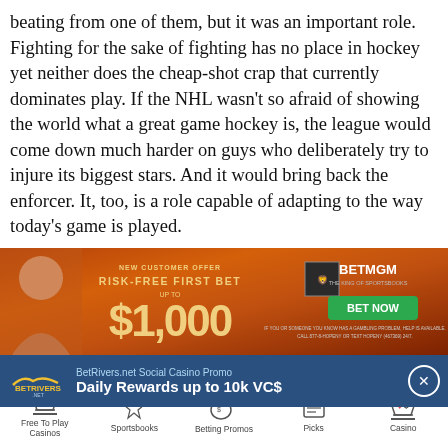beating from one of them, but it was an important role. Fighting for the sake of fighting has no place in hockey yet neither does the cheap-shot crap that currently dominates play. If the NHL wasn't so afraid of showing the world what a great game hockey is, the league would come down much harder on guys who deliberately try to injure its biggest stars. And it would bring back the enforcer. It, too, is a role capable of adapting to the way today's game is played.
[Figure (screenshot): BetMGM advertisement banner: Risk-Free First Bet up to $1,000 with Bet Now button]
[Figure (photo): Profile photo section with circular avatar showing top of head/hair, and a TOP button in top right corner]
[Figure (screenshot): BetRivers.net Social Casino Promo banner: Daily Rewards up to 10k VC$]
[Figure (screenshot): Bottom navigation bar with icons: Free To Play Casinos, Sportsbooks, Betting Promos (badge: 11), Picks, Casino]